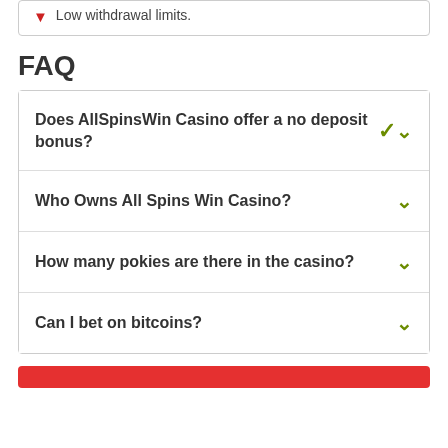Low withdrawal limits.
FAQ
Does AllSpinsWin Casino offer a no deposit bonus?
Who Owns All Spins Win Casino?
How many pokies are there in the casino?
Can I bet on bitcoins?